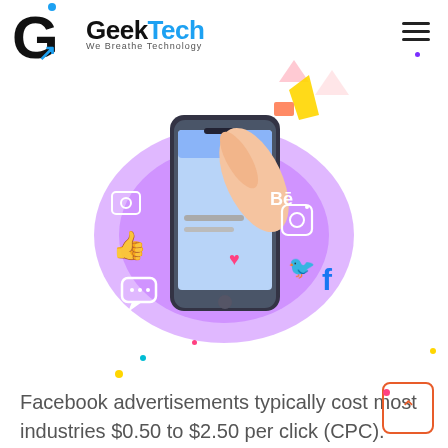[Figure (logo): GeekTech logo with stylized G and blue arrow, text 'GeekTech' with blue 'Tech', tagline 'We Breathe Technology', hamburger menu icon top right]
[Figure (illustration): Social media marketing illustration: smartphone with hand tapping screen, surrounded by social media icons (like, Behance, Instagram, Twitter, Facebook) on a purple circular background with decorative dots]
Facebook advertisements typically cost most industries $0.50 to $2.50 per click (CPC). Most marketers can afford these prices. It is one of the most affordable options.